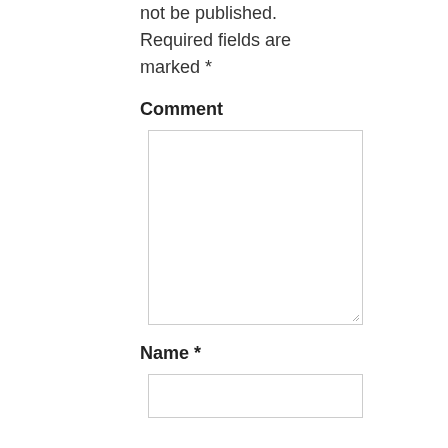not be published. Required fields are marked *
Comment
[Figure (screenshot): Empty textarea input box for comment]
Name *
[Figure (screenshot): Empty single-line text input box for name]